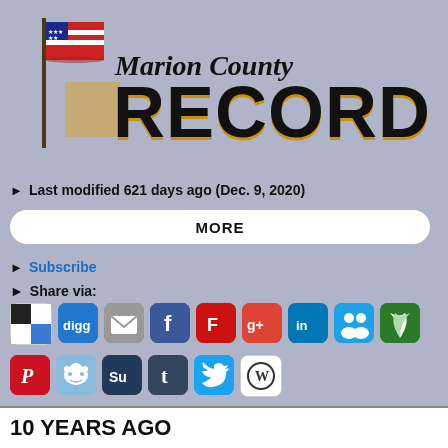[Figure (logo): Marion County Record newspaper logo with American flag and bold RECORD text in black with gold outline]
Last modified 621 days ago (Dec. 9, 2020)
MORE
Subscribe
Share via:
[Figure (infographic): Two rows of social media sharing icons: row1: AddThis/checkmark, Digg, Email, Facebook, Flipboard, Google+, LinkedIn, Windows Live, Myspace; row2: Pinterest, Reddit, StumbleUpon, Tumblr, Twitter, WordPress]
Return to Marion County Record
10 YEARS AGO